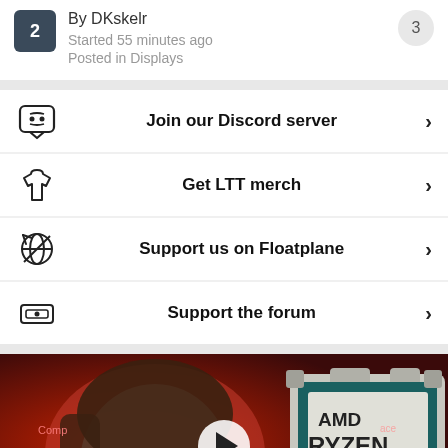By DKskelr
Started 55 minutes ago
Posted in Displays
Join our Discord server
Get LTT merch
Support us on Floatplane
Support the forum
[Figure (photo): Video thumbnail showing a person and an AMD Ryzen 9 7950X CPU]